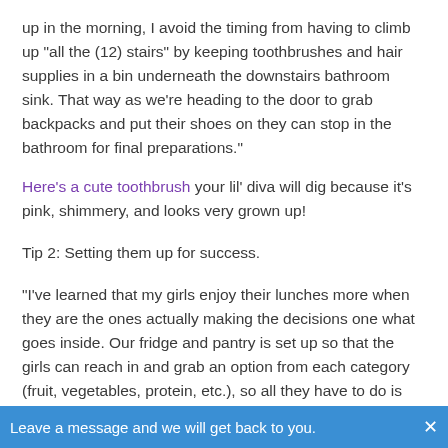up in the morning, I avoid the timing from having to climb up "all the (12) stairs" by keeping toothbrushes and hair supplies in a bin underneath the downstairs bathroom sink. That way as we're heading to the door to grab backpacks and put their shoes on they can stop in the bathroom for final preparations."
Here's a cute toothbrush your lil' diva will dig because it's pink, shimmery, and looks very grown up!
Tip 2: Setting them up for success.
"I've learned that my girls enjoy their lunches more when they are the ones actually making the decisions one what goes inside. Our fridge and pantry is set up so that the girls can reach in and grab an option from each category (fruit, vegetables, protein, etc.), so all they have to do is grab and fill."
Leave a message and we will get back to you. ×